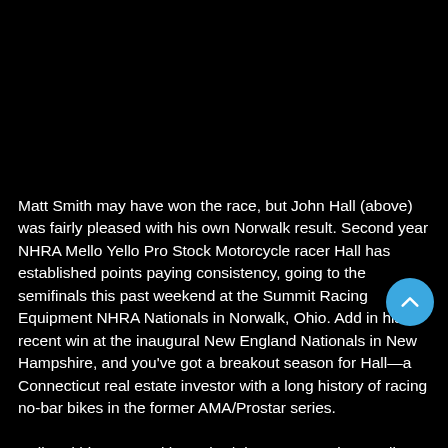[Figure (photo): Black area at top of page, likely an image of John Hall on a motorcycle that is not visible due to rendering]
Matt Smith may have won the race, but John Hall (above) was fairly pleased with his own Norwalk result. Second year NHRA Mello Yello Pro Stock Motorcycle racer Hall has established points paying consistency, going to the semifinals this past weekend at the Summit Racing Equipment NHRA Nationals in Norwalk, Ohio. Add in his recent win at the inaugural New England Nationals in New Hampshire, and you've got a breakout season for Hall—a Connecticut real estate investor with a long history of racing no-bar bikes in the former AMA/Prostar series.
Hall and his Matt Smith Racing/Viper Motorcycles Buell were quick right off the trailer in Norwalk, running a 6.95